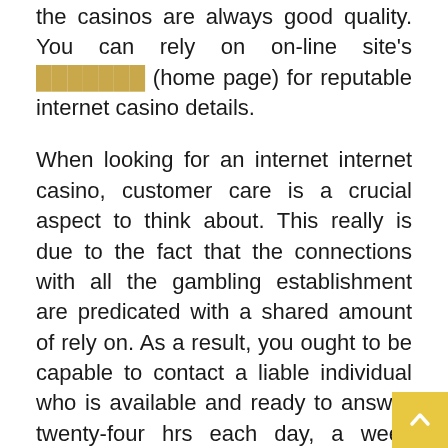the casinos are always good quality. You can rely on on-line site's ███████ (home page) for reputable internet casino details.
When looking for an internet internet casino, customer care is a crucial aspect to think about. This really is due to the fact that the connections with all the gambling establishment are predicated with a shared amount of rely on. As a result, you ought to be capable to contact a liable individual who is available and ready to answer twenty-four hrs each day, a week weekly.
As a consequence of this, we have conducted extensive study to ensure that this online casinos that we advise supply a higher level of custo...